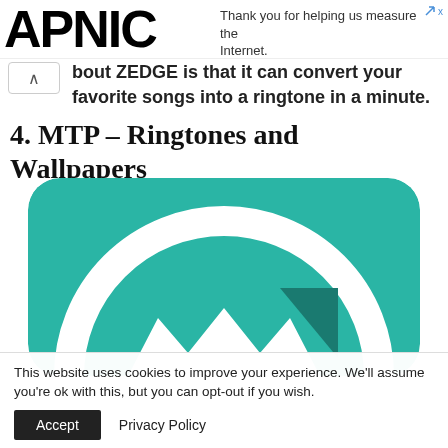[Figure (logo): APNIC logo in bold black text with ad banner saying 'Thank you for helping us measure the Internet.']
about ZEDGE is that it can convert your favorite songs into a ringtone in a minute.
4. MTP – Ringtones and Wallpapers
[Figure (illustration): MTP Ringtones and Wallpapers app icon — teal/green rounded square with white circle containing a stylized M/bat-wing logo and a dark teal triangle accent]
This website uses cookies to improve your experience. We'll assume you're ok with this, but you can opt-out if you wish.